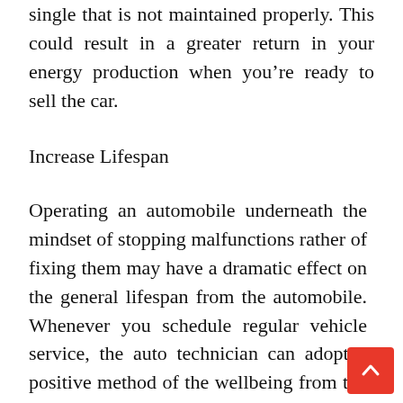single that is not maintained properly. This could result in a greater return in your energy production when you're ready to sell the car.
Increase Lifespan
Operating an automobile underneath the mindset of stopping malfunctions rather of fixing them may have a dramatic effect on the general lifespan from the automobile. Whenever you schedule regular vehicle service, the auto technician can adopt a positive method of the wellbeing from the vehicle, searching for potential problems that haven't yet led to harm to engine components. Examining the electrical system, brakes, lights, and battery with ongoing basis could keep the automobile running